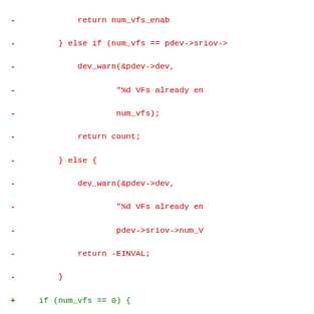[Figure (other): Unified diff / code patch showing removed lines (red, prefixed with -) and added lines (green, prefixed with +) for a C source file related to SR-IOV VF enable/disable logic.]